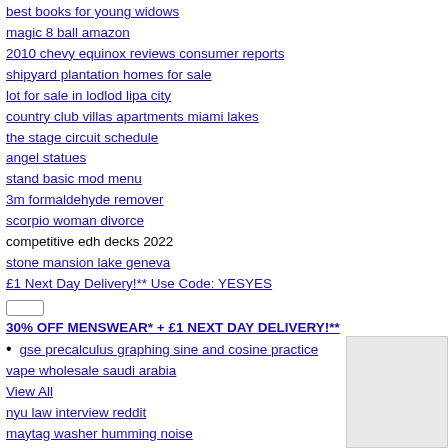best books for young widows
magic 8 ball amazon
2010 chevy equinox reviews consumer reports
shipyard plantation homes for sale
lot for sale in lodlod lipa city
country club villas apartments miami lakes
the stage circuit schedule
angel statues
stand basic mod menu
3m formaldehyde remover
scorpio woman divorce
competitive edh decks 2022
stone mansion lake geneva
£1 Next Day Delivery!** Use Code: YESYES
30% OFF MENSWEAR* + £1 NEXT DAY DELIVERY!**
• gsе precalculus graphing sine and cosine practice
vape wholesale saudi arabia
View All
nyu law interview reddit
maytag washer humming noise
ariel and prince eric
setup pxe boot server linux
messy room psychology
tiny house hawaii zillow